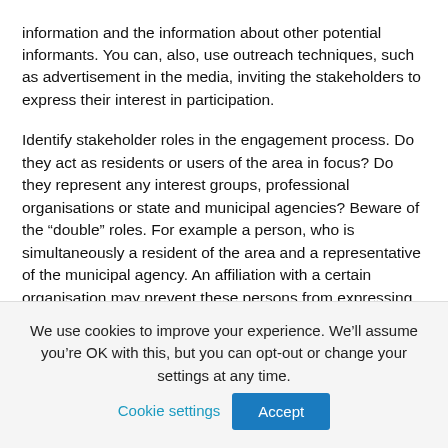information and the information about other potential informants. You can, also, use outreach techniques, such as advertisement in the media, inviting the stakeholders to express their interest in participation.
Identify stakeholder roles in the engagement process. Do they act as residents or users of the area in focus? Do they represent any interest groups, professional organisations or state and municipal agencies? Beware of the “double” roles. For example a person, who is simultaneously a resident of the area and a representative of the municipal agency. An affiliation with a certain organisation may prevent these persons from expressing his or her civic position openly in public. Furthermore, these persons may behave differently or express different opinions depending on the role thay are
We use cookies to improve your experience. We’ll assume you’re OK with this, but you can opt-out or change your settings at any time. Cookie settings  Accept